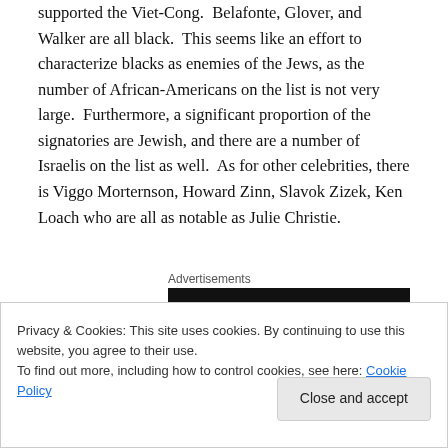supported the Viet-Cong.  Belafonte, Glover, and Walker are all black.  This seems like an effort to characterize blacks as enemies of the Jews, as the number of African-Americans on the list is not very large.  Furthermore, a significant proportion of the signatories are Jewish, and there are a number of Israelis on the list as well.  As for other celebrities, there is Viggo Morternson, Howard Zinn, Slavok Zizek, Ken Loach who are all as notable as Julie Christie.
Advertisements
Privacy & Cookies: This site uses cookies. By continuing to use this website, you agree to their use.
To find out more, including how to control cookies, see here: Cookie Policy